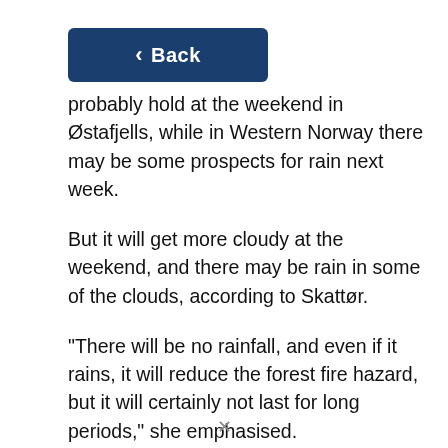[Figure (screenshot): Dark blue back navigation button with left arrow and text 'Back']
probably hold at the weekend in Østafjells, while in Western Norway there may be some prospects for rain next week.
But it will get more cloudy at the weekend, and there may be rain in some of the clouds, according to Skattør.
“There will be no rainfall, and even if it rains, it will reduce the forest fire hazard, but it will certainly not last for long periods,” she emphasised.
Because some clouds will appear, the temperature will be reduced somewhat. But